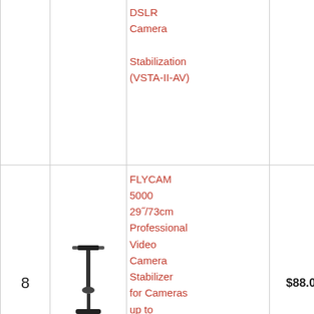| # | Image | Product Name | Price | Action |
| --- | --- | --- | --- | --- |
|  |  | DSLR Camera Stabilization (VSTA-II-AV) |  |  |
| 8 | [image] | FLYCAM 5000 29"/73cm Professional Video Camera Stabilizer for Cameras up to 5kg/11lbs | Handheld Steadycam for DV DSLR | Free Quick... | $88.00 | Buy on Amazon |